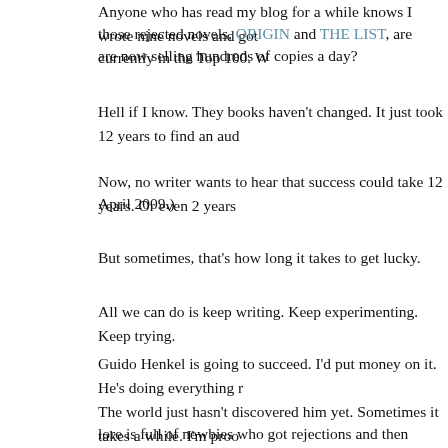Anyone who has read my blog for a while knows I wrote nine novels and got those rejected novels, ORIGIN and THE LIST, are currently in the Top 100. W are now selling hundreds of copies a day?
Hell if I know. They books haven't changed. It just took 12 years to find an aud
Now, no writer wants to hear that success could take 12 years. Or even 2 years April 2009.)
But sometimes, that's how long it takes to get lucky.
All we can do is keep writing. Keep experimenting. Keep trying.
Guido Henkel is going to succeed. I'd put money on it. He's doing everything r
The world just hasn't discovered him yet. Sometimes it takes a while. I'm proo lore is full of newbies who got rejections and then became bestsellers, and snu titles and made a killing. All of these stories have a common element: the write more.
I think Guido is smart to try something new. I've reinvented myself at least six horror, sci-fi, humorous thrillers, technothrillers, medical thrillers, etc. Until T